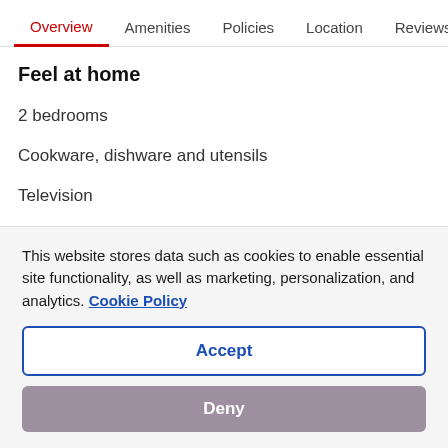Overview | Amenities | Policies | Location | Reviews
Feel at home
2 bedrooms
Cookware, dishware and utensils
Television
Coffee/tea maker
Fireplace
On-site parking
This website stores data such as cookies to enable essential site functionality, as well as marketing, personalization, and analytics. Cookie Policy
Accept
Deny